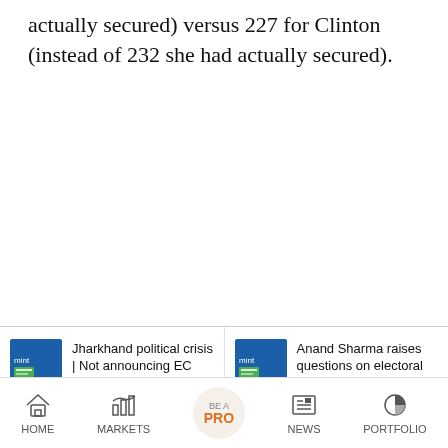actually secured) versus 227 for Clinton (instead of 232 she had actually secured).
[Figure (screenshot): News card: Jharkhand political crisis | Not announcing EC date for...]
[Figure (screenshot): News card: Anand Sharma raises questions on electoral roll... CWC...]
HOME  MARKETS  BE A PRO  NEWS  PORTFOLIO